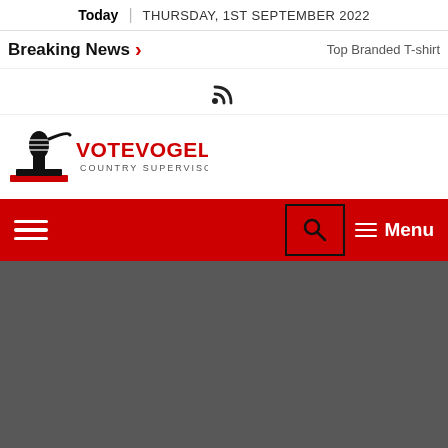Today | THURSDAY, 1ST SEPTEMBER 2022
Breaking News > Top Branded T-shirt
[Figure (other): RSS feed icon]
[Figure (logo): Votevogel Country Supervisor logo with microphone icon]
[Figure (other): Red navigation bar with hamburger menu, search icon box, and Menu label]